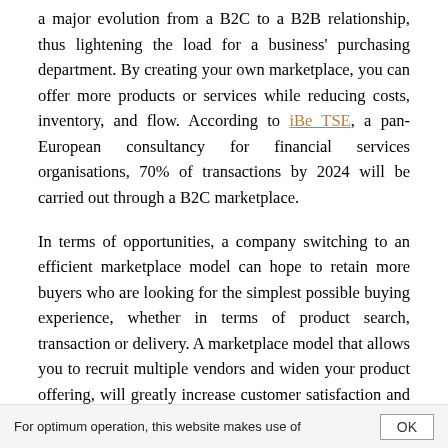a major evolution from a B2C to a B2B relationship, thus lightening the load for a business' purchasing department. By creating your own marketplace, you can offer more products or services while reducing costs, inventory, and flow. According to iBe TSE, a pan-European consultancy for financial services organisations, 70% of transactions by 2024 will be carried out through a B2C marketplace.
In terms of opportunities, a company switching to an efficient marketplace model can hope to retain more buyers who are looking for the simplest possible buying experience, whether in terms of product search, transaction or delivery. A marketplace model that allows you to recruit multiple vendors and widen your product offering, will greatly increase customer satisfaction and the number of transactions, and generate more cash receipts. Finally, the marketplace model helps a business take on internationally. But how asked. For more information click here footer...
For optimum operation, this website makes use of